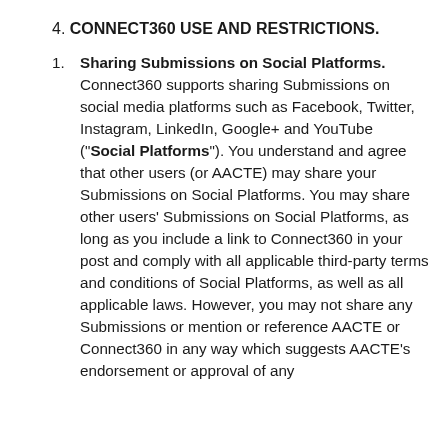4. CONNECT360 USE AND RESTRICTIONS.
Sharing Submissions on Social Platforms. Connect360 supports sharing Submissions on social media platforms such as Facebook, Twitter, Instagram, LinkedIn, Google+ and YouTube ("Social Platforms"). You understand and agree that other users (or AACTE) may share your Submissions on Social Platforms. You may share other users' Submissions on Social Platforms, as long as you include a link to Connect360 in your post and comply with all applicable third-party terms and conditions of Social Platforms, as well as all applicable laws. However, you may not share any Submissions or mention or reference AACTE or Connect360 in any way which suggests AACTE's endorsement or approval of any